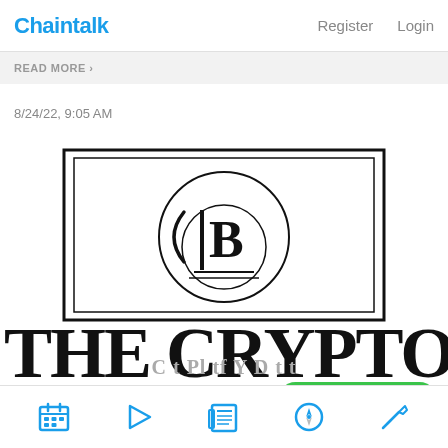Chaintalk   Register   Login
READ MORE
8/24/22, 9:05 AM
[Figure (logo): The Crypto Basic logo — a rectangular border containing a circular emblem with stylized letters and 'B', above large serif text reading 'THE CRYPTO' and partial second line]
CRYPTOCOMPARE
Bottom navigation icons: calendar, play, newspaper, compass, pickaxe